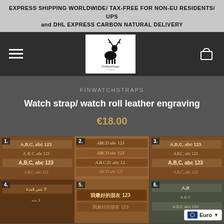EXPRESS SHIPPING WORLDWIDE/ TAX-FREE FOR NON-EU RESIDENTS/ UPS and DHL EXPRESS CARBON NATURAL DELIVERY
[Figure (logo): FinWatchStraps logo with deer silhouette on white background]
FINWATCHSTRAPS
Watch strap/ watch roll leather engraving
€18.00
[Figure (photo): Six grid photos showing leather watch strap engraving samples with different font styles and scripts including Latin, Arabic, and Chinese characters. Numbered 1-6.]